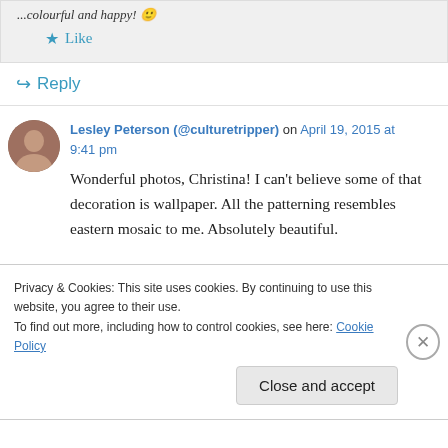...colourful and happy! 🙂
★ Like
↪ Reply
Lesley Peterson (@culturetripper) on April 19, 2015 at 9:41 pm
Wonderful photos, Christina! I can't believe some of that decoration is wallpaper. All the patterning resembles eastern mosaic to me. Absolutely beautiful.
Privacy & Cookies: This site uses cookies. By continuing to use this website, you agree to their use. To find out more, including how to control cookies, see here: Cookie Policy
Close and accept